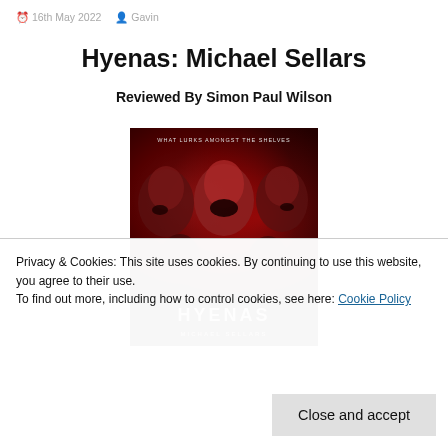16th May 2022  Gavin
Hyenas: Michael Sellars
Reviewed By Simon Paul Wilson
[Figure (photo): Book cover for 'Hyenas' by Michael Sellars. Dark red background with three faces shouting/grimacing. Tagline reads 'WHAT LURKS AMONGST THE SHELVES'. Title 'HYENAS' in large letters at bottom with author name 'MICHAEL SELLARS'.]
Privacy & Cookies: This site uses cookies. By continuing to use this website, you agree to their use.
To find out more, including how to control cookies, see here: Cookie Policy